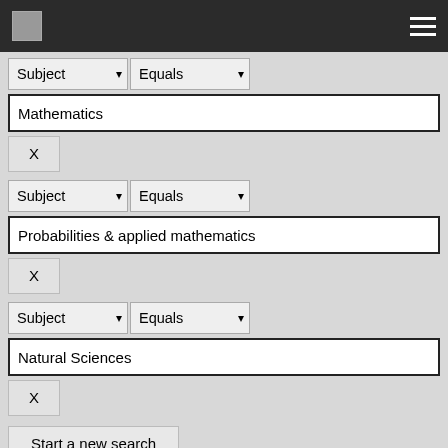[Figure (screenshot): Dark top navigation bar with logo placeholder and hamburger menu icon]
Subject  Equals  Mathematics  X
Subject  Equals  Probabilities & applied mathematics  X
Subject  Equals  Natural Sciences  X
Start a new search
Add filters:
Use filters to refine the search results.
Title  Equals